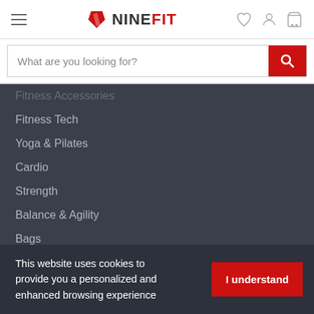NINEFIT
What are you looking for?
Fitness Tech
Yoga & Pilates
Cardio
Strength
Balance & Agility
Bags
Accessories
HFI P
This website uses cookies to provide you a personalized and enhanced browsing experience